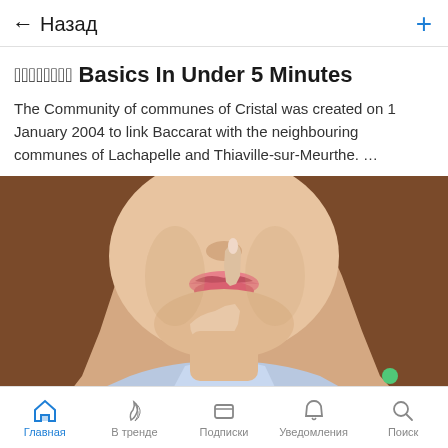← Назад
󾓮󾓮󾓮󾓮󾓮󾓮󾓮󾓮 Basics In Under 5 Minutes
The Community of communes of Cristal was created on 1 January 2004 to link Baccarat with the neighbouring communes of Lachapelle and Thiaville-sur-Meurthe. …
[Figure (photo): Close-up photo of a young woman with long brown hair touching her lips/chin with her finger, thinking pose, wearing a light blue shirt]
Главная   В тренде   Подписки   Уведомления   Поиск